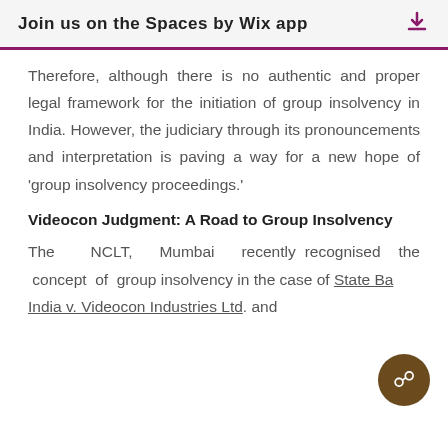Join us on the Spaces by Wix app
Therefore, although there is no authentic and proper legal framework for the initiation of group insolvency in India. However, the judiciary through its pronouncements and interpretation is paving a way for a new hope of 'group insolvency proceedings.'
Videocon Judgment: A Road to Group Insolvency
The NCLT, Mumbai recently recognised the concept of group insolvency in the case of State Bank of India v. Videocon Industries Ltd. and